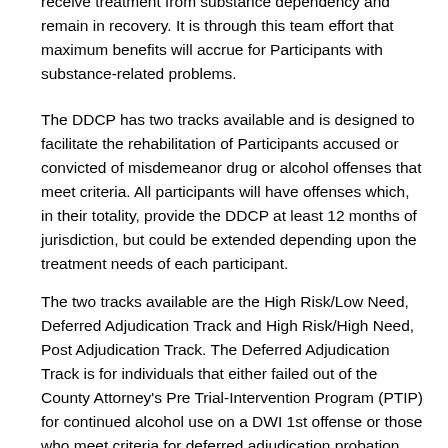receive treatment from substance dependency and remain in recovery. It is through this team effort that maximum benefits will accrue for Participants with substance-related problems.
The DDCP has two tracks available and is designed to facilitate the rehabilitation of Participants accused or convicted of misdemeanor drug or alcohol offenses that meet criteria. All participants will have offenses which, in their totality, provide the DDCP at least 12 months of jurisdiction, but could be extended depending upon the treatment needs of each participant.
The two tracks available are the High Risk/Low Need, Deferred Adjudication Track and High Risk/High Need, Post Adjudication Track. The Deferred Adjudication Track is for individuals that either failed out of the County Attorney's Pre Trial-Intervention Program (PTIP) for continued alcohol use on a DWI 1st offense or those who meet criteria for deferred adjudication probation according to Texas' new statute for certain Driving While Intoxicated (DWI) offenses.